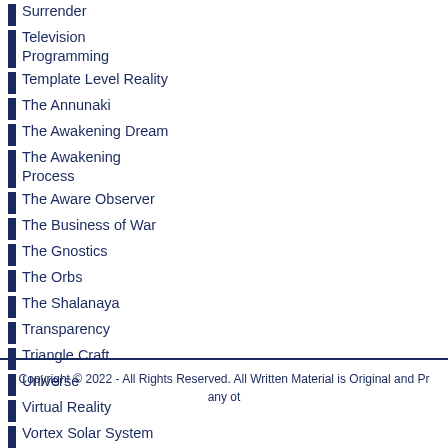Surrender
Television Programming
Template Level Reality
The Annunaki
The Awakening Dream
The Awakening Process
The Aware Observer
The Business of War
The Gnostics
The Orbs
The Shalanaya
Transparency
Triangle Craft
Universe
Virtual Reality
Vortex Solar System
Wetiko
Willa
Copyright © 2022 - All Rights Reserved. All Written Material is Original and Pr any ot